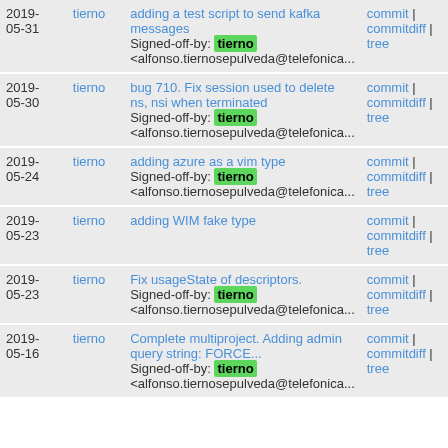| Date | Author | Message | Links |
| --- | --- | --- | --- |
| 2019-05-31 | tierno | adding a test script to send kafka messages
Signed-off-by: tierno <alfonso.tiernosepulveda@telefonica... | commit | commitdiff | tree |
| 2019-05-30 | tierno | bug 710. Fix session used to delete ns, nsi when terminated
Signed-off-by: tierno <alfonso.tiernosepulveda@telefonica... | commit | commitdiff | tree |
| 2019-05-24 | tierno | adding azure as a vim type
Signed-off-by: tierno <alfonso.tiernosepulveda@telefonica... | commit | commitdiff | tree |
| 2019-05-23 | tierno | adding WIM fake type | commit | commitdiff | tree |
| 2019-05-23 | tierno | Fix usageState of descriptors.
Signed-off-by: tierno <alfonso.tiernosepulveda@telefonica... | commit | commitdiff | tree |
| 2019-05-16 | tierno | Complete multiproject. Adding admin query string: FORCE...
Signed-off-by: tierno <alfonso.tiernosepulveda@telefonica... | commit | commitdiff | tree |